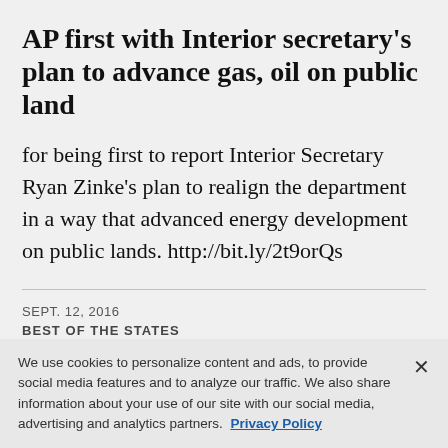AP first with Interior secretary's plan to advance gas, oil on public land
for being first to report Interior Secretary Ryan Zinke's plan to realign the department in a way that advanced energy development on public lands. http://bit.ly/2t9orQs
SEPT. 12, 2016
BEST OF THE STATES
We use cookies to personalize content and ads, to provide social media features and to analyze our traffic. We also share information about your use of our site with our social media, advertising and analytics partners. Privacy Policy